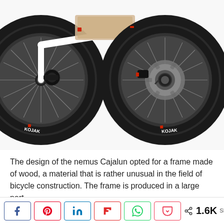[Figure (photo): Close-up photo of a bicycle with white frame, showing two wheels with black tires branded 'KOJAK'. The front wheel has a disc brake rotor. The frame appears to have a wooden element. The bike is shown against a white background.]
The design of the nemus Cajalun opted for a frame made of wood, a material that is rather unusual in the field of bicycle construction. The frame is produced in a large part from...
Social share buttons: Facebook, Pinterest, LinkedIn, Flipboard, WhatsApp, Pocket | 1.6K SHARES